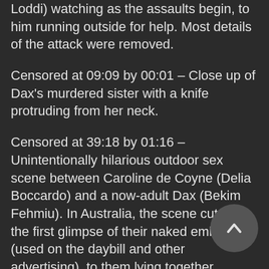Loddi) watching as the assaults begin, to him running outside for help. Most details of the attack were removed.
Censored at 09:09 by 00:01 – Close up of Dax's murdered sister with a knife protruding from her neck.
Censored at 39:18 by 01:16 – Unintentionally hilarious outdoor sex scene between Caroline de Coyne (Delia Boccardo) and a now-adult Dax (Bekim Fehmiu). In Australia, the scene cut after the first glimpse of their naked embrace (used on the daybill and other advertising), to them lying together afterwards.
Censored at 63:30 by 00:14 approx. – Panning shot of a naked Dax and a naked Amparo Rogo (Leigh Taylor-Young) entwined and falling slowly into bed.
Censored at 148:43 – Close up of Fat Cat (Ernest